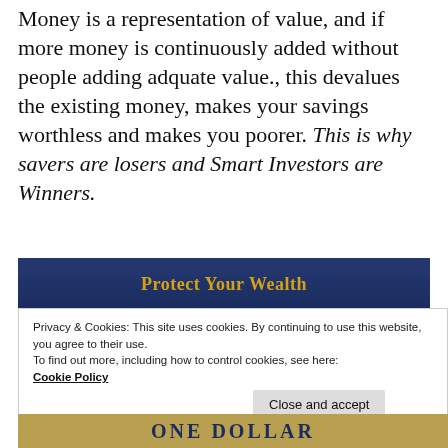Money is a representation of value, and if more money is continuously added without people adding adquate value., this devalues the existing money, makes your savings worthless and makes you poorer. This is why savers are losers and Smart Investors are Winners.
[Figure (screenshot): Dark navy blue banner with gold bold text reading 'Protect Your Wealth']
Privacy & Cookies: This site uses cookies. By continuing to use this website, you agree to their use.
To find out more, including how to control cookies, see here:
Cookie Policy
[Figure (photo): Bottom strip showing part of a US one dollar bill with golden/olive tones and text 'ONE DOLLAR']